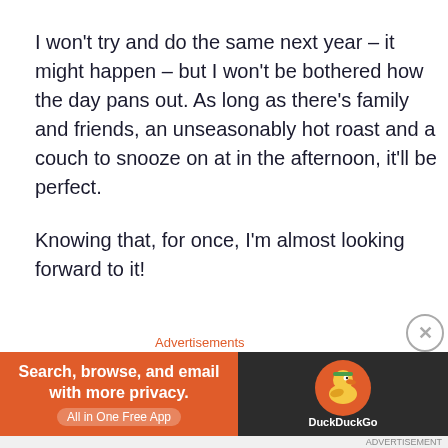I won't try and do the same next year – it might happen – but I won't be bothered how the day pans out. As long as there's family and friends, an unseasonably hot roast and a couch to snooze on at in the afternoon, it'll be perfect.
Knowing that, for once, I'm almost looking forward to it!
Stephen
Share this:
Advertisements
[Figure (other): DuckDuckGo advertisement banner: 'Search, browse, and email with more privacy. All in One Free App' with DuckDuckGo logo on dark background]